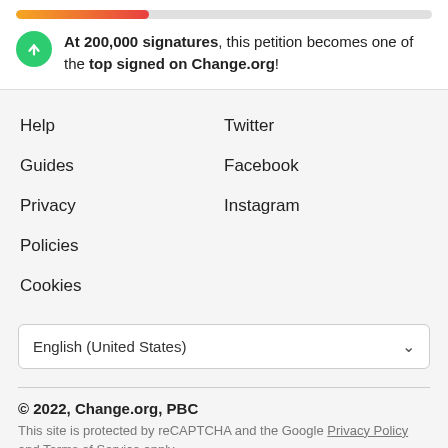At 200,000 signatures, this petition becomes one of the top signed on Change.org!
Help
Guides
Privacy
Policies
Cookies
Twitter
Facebook
Instagram
English (United States)
© 2022, Change.org, PBC
This site is protected by reCAPTCHA and the Google Privacy Policy and Terms of Service apply.